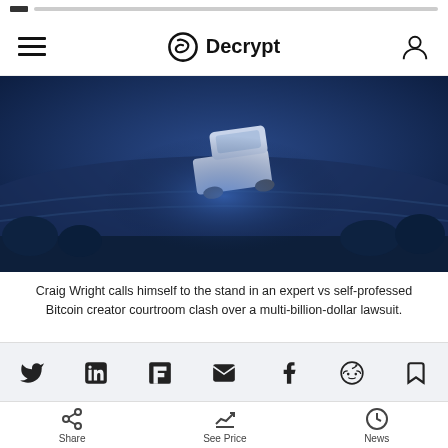Decrypt
[Figure (photo): Aerial night-vision style blue-tinted image of a white SUV/truck driving on a road, viewed from above]
Craig Wright calls himself to the stand in an expert vs self-professed Bitcoin creator courtroom clash over a multi-billion-dollar lawsuit.
[Figure (infographic): Social sharing icon row: Twitter, LinkedIn, Flipboard, Email, Facebook, Reddit, Bookmark]
[Figure (other): Wavy squiggle decorative line]
Share  See Price  News